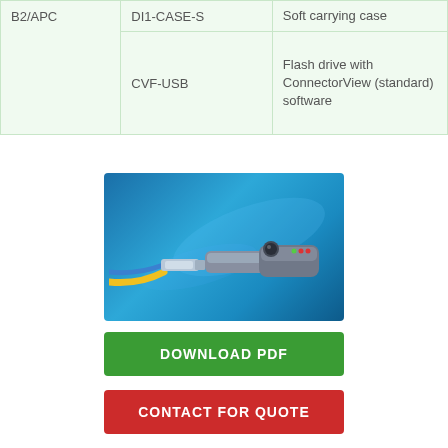| B2/APC |  |  |
|  | DI1-CASE-S | Soft carrying case |
|  | CVF-USB | Flash drive with ConnectorView (standard) software |
[Figure (photo): Handheld fiber optic inspection probe/device with a blue and yellow fiber cable attached, shown against a blue gradient background]
DOWNLOAD PDF
CONTACT FOR QUOTE